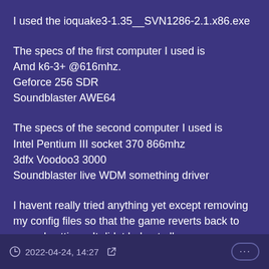I used the ioquake3-1.35__SVN1286-2.1.x86.exe
The specs of the first computer I used is
Amd k6-3+ @616mhz.
Geforce 256 SDR
Soundblaster AWE64
The specs of the second computer I used is
Intel Pentium III socket 370 866mhz
3dfx Voodoo3 3000
Soundblaster live WDM something driver
I havent really tried anything yet except removing my config files so that the game reverts back to normal settings. It didnt help at all.
I would describe the problem like stuttering and delays.
2022-04-24, 14:27